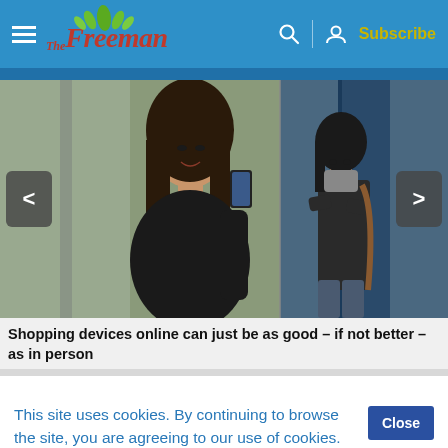The Freeman — Subscribe
[Figure (photo): Two-photo composite: left photo shows a young Asian woman in black top smiling and holding a smartphone; right photo shows a young Asian woman wearing a face mask, arms crossed, standing outside a building.]
Shopping devices online can just be as good – if not better – as in person
This site uses cookies. By continuing to browse the site, you are agreeing to our use of cookies.